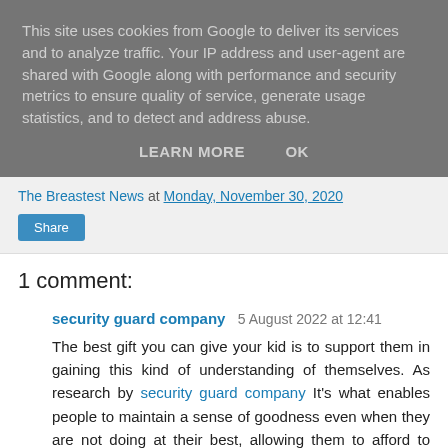This site uses cookies from Google to deliver its services and to analyze traffic. Your IP address and user-agent are shared with Google along with performance and security metrics to ensure quality of service, generate usage statistics, and to detect and address abuse.
LEARN MORE   OK
The Breastest News at Monday, November 30, 2020
Share
1 comment:
security guard company 5 August 2022 at 12:41
The best gift you can give your kid is to support them in gaining this kind of understanding of themselves. As research by security guard company It's what enables people to maintain a sense of goodness even when they are not doing at their best, allowing them to afford to acknowledge their faults and learn from their mistakes.